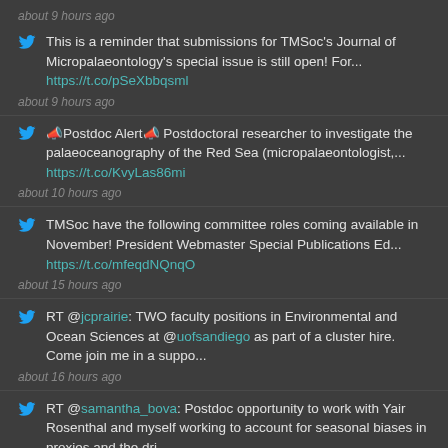about 9 hours ago
This is a reminder that submissions for TMSoc's Journal of Micropalaeontology's special issue is still open! For... https://t.co/pSeXbbqsml
about 9 hours ago
📣Postdoc Alert📣 Postdoctoral researcher to investigate the palaeoceanography of the Red Sea (micropalaeontologist,... https://t.co/KvyLas86mi
about 10 hours ago
TMSoc have the following committee roles coming available in November! President Webmaster Special Publications Ed... https://t.co/mfeqdNQnqO
about 15 hours ago
RT @jcprairie: TWO faculty positions in Environmental and Ocean Sciences at @uofsandiego as part of a cluster hire. Come join me in a suppo...
about 16 hours ago
RT @samantha_bova: Postdoc opportunity to work with Yair Rosenthal and myself working to account for seasonal biases in proxies and the dri...